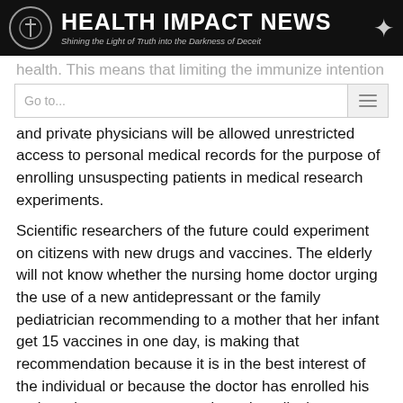HEALTH IMPACT NEWS — Shining the Light of Truth into the Darkness of Deceit
health. This means that limiting the immunize intention and private physicians will be allowed unrestricted access to personal medical records for the purpose of enrolling unsuspecting patients in medical research experiments.
Scientific researchers of the future could experiment on citizens with new drugs and vaccines. The elderly will not know whether the nursing home doctor urging the use of a new antidepressant or the family pediatrician recommending to a mother that her infant get 15 vaccines in one day, is making that recommendation because it is in the best interest of the individual or because the doctor has enrolled his patients in a government-endorsed medical experiment.
Electronic Tracking Will Force Vaccine Use